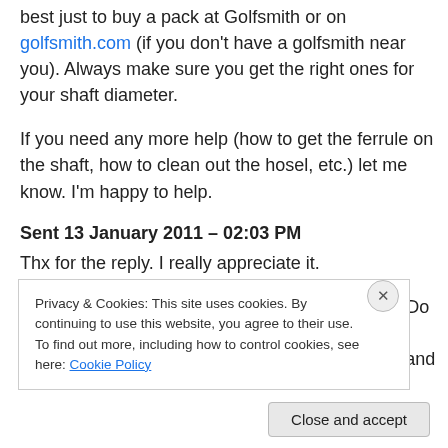best just to buy a pack at Golfsmith or on golfsmith.com (if you don't have a golfsmith near you). Always make sure you get the right ones for your shaft diameter.
If you need any more help (how to get the ferrule on the shaft, how to clean out the hosel, etc.) let me know. I'm happy to help.
Sent 13 January 2011 – 02:03 PM
Thx for the reply. I really appreciate it.
I have Sensicore high launch shafts in my irons. Do you know how I would tell what diameter the shaft is and what
Privacy & Cookies: This site uses cookies. By continuing to use this website, you agree to their use. To find out more, including how to control cookies, see here: Cookie Policy
Close and accept